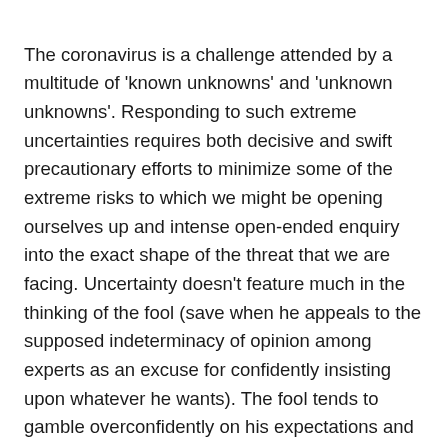The coronavirus is a challenge attended by a multitude of ‘known unknowns’ and ‘unknown unknowns’. Responding to such extreme uncertainties requires both decisive and swift precautionary efforts to minimize some of the extreme risks to which we might be opening ourselves up and intense open-ended enquiry into the exact shape of the threat that we are facing. Uncertainty doesn’t feature much in the thinking of the fool (save when he appeals to the supposed indeterminacy of opinion among experts as an excuse for confidently insisting upon whatever he wants). The fool tends to gamble overconfidently on his expectations and gives little thought to the many contingencies that are at play.
The fool scoffed at the supposed panic and fear of people who, while not necessarily expecting coronavirus to hit